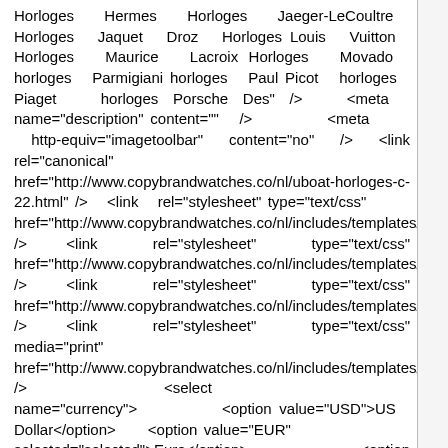Horloges Hermes Horloges Jaeger-LeCoultre Horloges Jaquet Droz Horloges Louis Vuitton Horloges Maurice Lacroix Horloges Movado horloges Parmigiani horloges Paul Picot horloges Piaget horloges Porsche Des" /> <meta name="description" content="" /> <meta http-equiv="imagetoolbar" content="no" /> <link rel="canonical" href="http://www.copybrandwatches.co/nl/uboat-horloges-c-22.html" /> <link rel="stylesheet" type="text/css" href="http://www.copybrandwatches.co/nl/includes/templates/p /> <link rel="stylesheet" type="text/css" href="http://www.copybrandwatches.co/nl/includes/templates/p /> <link rel="stylesheet" type="text/css" href="http://www.copybrandwatches.co/nl/includes/templates/p /> <link rel="stylesheet" type="text/css" media="print" href="http://www.copybrandwatches.co/nl/includes/templates/p /> <select name="currency" onchange="this.form.submit();"> <option value="USD">US Dollar</option> <option value="EUR" selected="selected">Euro</option> <option value="GBP">GB Pound</option> <option value="CAD">Canadian Dollar</option> <option value="AUD">Australian Dollar</option> <option value="JPY">Jappen Yen</option> <option